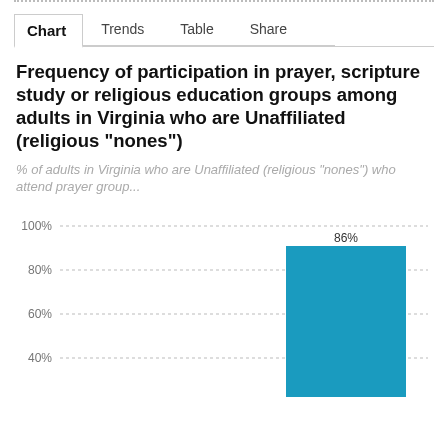Chart | Trends | Table | Share
Frequency of participation in prayer, scripture study or religious education groups among adults in Virginia who are Unaffiliated (religious "nones")
% of adults in Virginia who are Unaffiliated (religious "nones") who attend prayer group...
[Figure (bar-chart): Frequency of participation in prayer, scripture study or religious education groups among adults in Virginia who are Unaffiliated (religious "nones")]